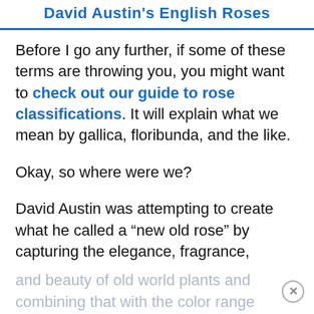David Austin's English Roses
Before I go any further, if some of these terms are throwing you, you might want to check out our guide to rose classifications. It will explain what we mean by gallica, floribunda, and the like.
Okay, so where were we?
David Austin was attempting to create what he called a “new old rose” by capturing the elegance, fragrance, and beauty of old world plants and combining that with the color range